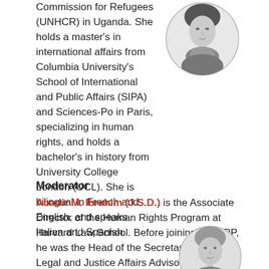Commission for Refugees (UNHCR) in Uganda. She holds a master's in international affairs from Columbia University's School of International and Public Affairs (SIPA) and Sciences-Po in Paris, specializing in human rights, and holds a bachelor's in history from University College London (UCL). She is bilingual in French and English, and speaks Italian and Spanish.
[Figure (photo): Black and white circular portrait photo of a woman with short hair and a scarf]
Moderator
Abadir M. Ibrahim (J.S.D.) is the Associate Director of the Human Rights Program at Harvard Law School. Before joining the HRP, he was the Head of the Secretariat for the Legal and Justice Affairs Advisory Council of Ethiopia, an institution established as an independent body to advise the government on conducting pro-democracy and pro-rights justice
[Figure (photo): Black and white circular portrait photo of a man]